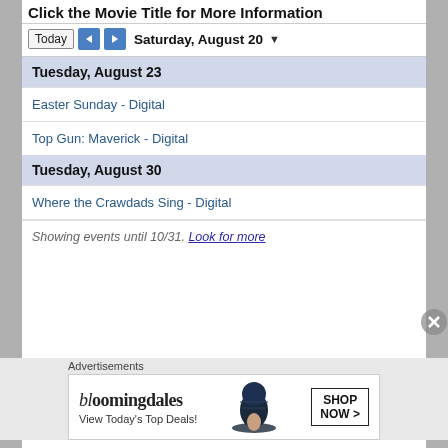Click the Movie Title for More Information
Today  ◄  ►  Saturday, August 20 ▼
Tuesday, August 23
Easter Sunday - Digital
Top Gun: Maverick - Digital
Tuesday, August 30
Where the Crawdads Sing - Digital
Showing events until 10/31. Look for more
Advertisements
[Figure (other): Bloomingdales advertisement banner: bloomingdales logo, 'View Today's Top Deals!', woman with hat, SHOP NOW > button]